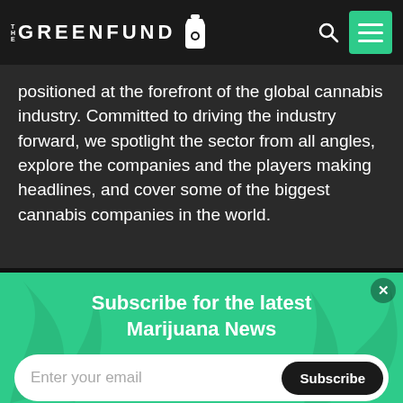THE GREENFUND
positioned at the forefront of the global cannabis industry. Committed to driving the industry forward, we spotlight the sector from all angles, explore the companies and the players making headlines, and cover some of the biggest cannabis companies in the world.
Subscribe for the latest Marijuana News
Enter your email  Subscribe
Become a Patron below and support us in covering the latest marijuana news!
Become a patron